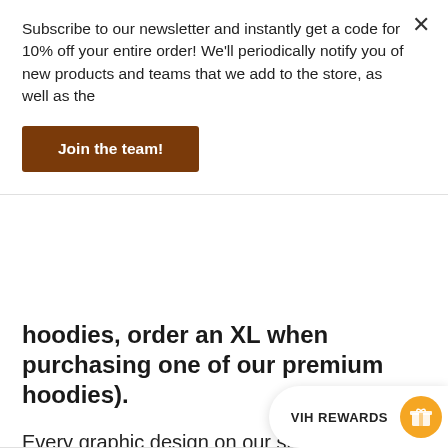Subscribe to our newsletter and instantly get a code for 10% off your entire order! We'll periodically notify you of new products and teams that we add to the store, as well as the
Join the team!
hoodies, order an XL when purchasing one of our premium hoodies).
Every graphic design on our site will have a premium and non-premium hoodie option. To spot the difference, just look for "(Premium)" in the subject line.
For more details on the sizing and content of these items, please see our size c
VIH REWARDS